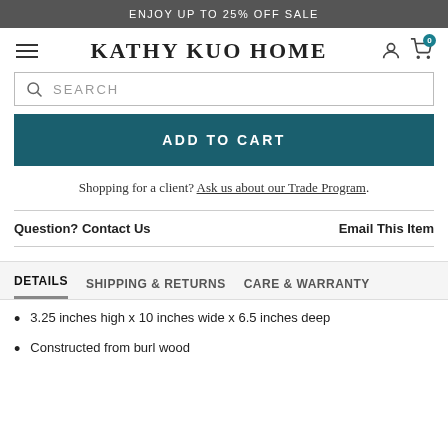ENJOY UP TO 25% OFF SALE
KATHY KUO HOME
SEARCH
ADD TO CART
Shopping for a client? Ask us about our Trade Program.
Question? Contact Us   Email This Item
DETAILS   SHIPPING & RETURNS   CARE & WARRANTY
3.25 inches high x 10 inches wide x 6.5 inches deep
Constructed from burl wood